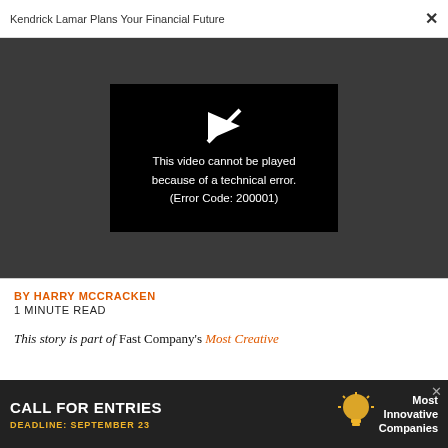Kendrick Lamar Plans Your Financial Future  ×
[Figure (screenshot): Video player showing error message on dark background: 'This video cannot be played because of a technical error. (Error Code: 200001)']
BY HARRY MCCRACKEN
1 MINUTE READ
This story is part of Fast Company's Most Creative
[Figure (infographic): Advertisement banner: CALL FOR ENTRIES — Most Innovative Companies — DEADLINE: SEPTEMBER 23]